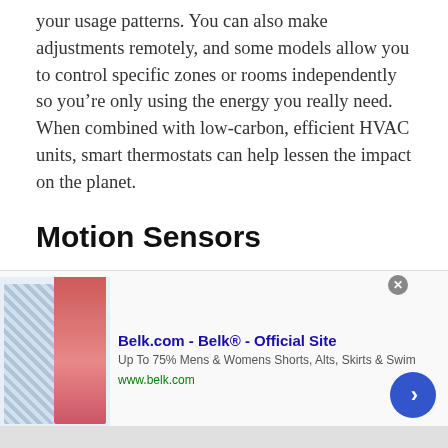your usage patterns. You can also make adjustments remotely, and some models allow you to control specific zones or rooms independently so you’re only using the energy you really need. When combined with low-carbon, efficient HVAC units, smart thermostats can help lessen the impact on the planet.
Motion Sensors
Like programmable thermostats and smart plugs, motion sensors help manage your energy usage. Motion sensors ensure you’re only drawing electricity to illuminate a space when it’s in use or when the light quality falls below a certain
[Figure (other): Advertisement banner for Belk.com showing clothing images (floral and red skirts), text 'Belk.com - Belk® - Official Site', 'Up To 75% Mens & Womens Shorts, Alts, Skirts & Swim', 'www.belk.com', with a blue circular arrow button and a close button.]